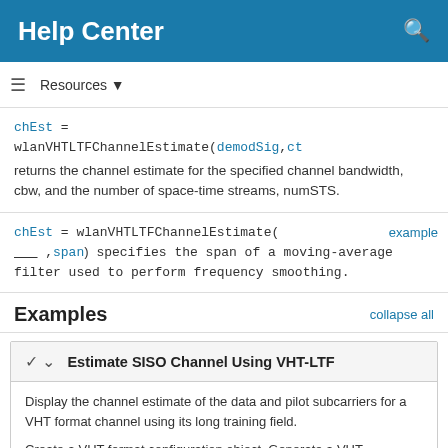Help Center
Resources ▼
chEst = wlanVHTLTFChannelEstimate(demodSig,ct) returns the channel estimate for the specified channel bandwidth, cbw, and the number of space-time streams, numSTS.
chEst = wlanVHTLTFChannelEstimate( ___ ,span) specifies the span of a moving-average filter used to perform frequency smoothing.
Examples
Estimate SISO Channel Using VHT-LTF
Display the channel estimate of the data and pilot subcarriers for a VHT format channel using its long training field.
Create a VHT format configuration object. Generate a VHT-